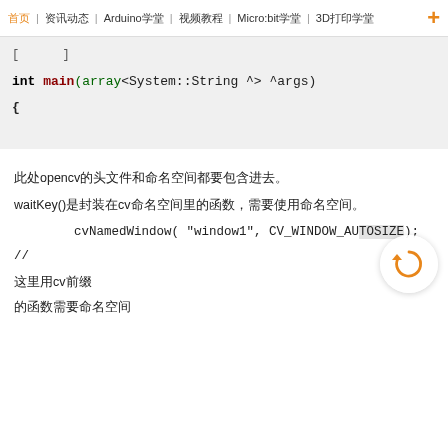首页 | 资讯动态 | Arduino学堂 | 视频教程 | Micro:bit学堂 | 3D打印学堂
int main(array<System::String ^> ^args)
{
此处opencv的头文件和命名空间都要包含进去。
waitKey()是封装在cv命名空间里的函数，需要使用命名空间。
cvNamedWindow( "window1", CV_WINDOW_AUTOSIZE); //
这里用cv前缀
的函数需要命名空间